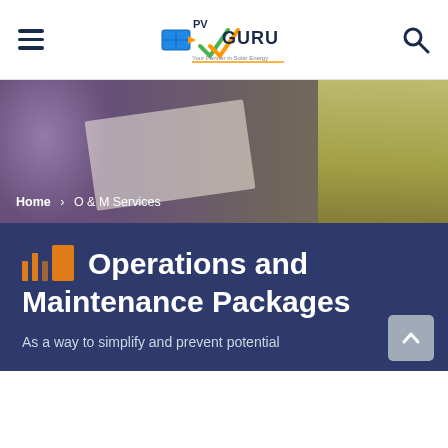[Figure (screenshot): Navigation bar with hamburger menu on left, PV Guru logo in center, and search icon on right]
[Figure (photo): Hero image showing two workers in safety vests reviewing plans]
Home > O & M Services
Operations and Maintenance Packages
As a way to simplify and prevent potential